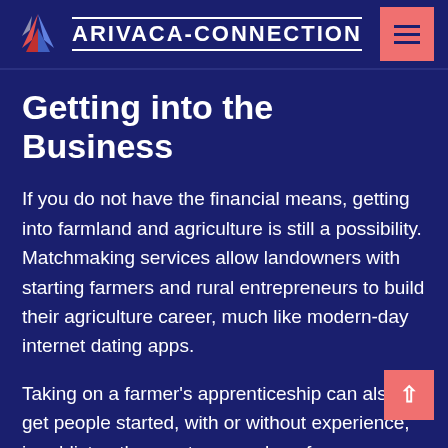ARIVACA-CONNECTION
Getting into the Business
If you do not have the financial means, getting into farmland and agriculture is still a possibility. Matchmaking services allow landowners with starting farmers and rural entrepreneurs to build their agriculture career, much like modern-day internet dating apps.
Taking on a farmer's apprenticeship can also get people started, with or without experience, in addition to other ventures such as farm management and crowdfunding.